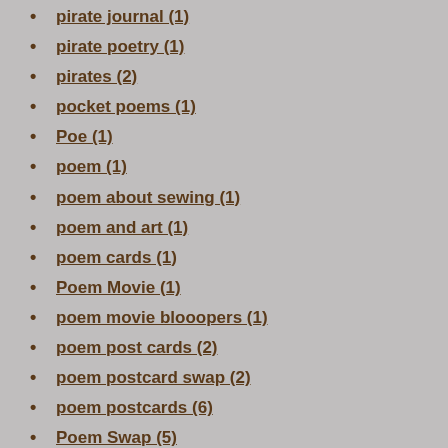pirate journal (1)
pirate poetry (1)
pirates (2)
pocket poems (1)
Poe (1)
poem (1)
poem about sewing (1)
poem and art (1)
poem cards (1)
Poem Movie (1)
poem movie blooopers (1)
poem post cards (2)
poem postcard swap (2)
poem postcards (6)
Poem Swap (5)
poem video (3)